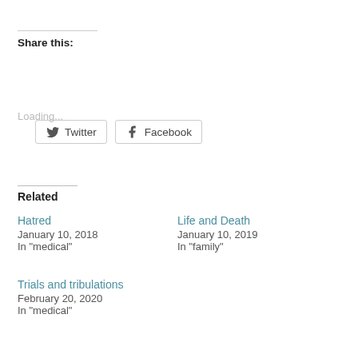Share this:
[Figure (other): Social sharing buttons for Twitter and Facebook]
Loading...
Related
Hatred
January 10, 2018
In "medical"
Life and Death
January 10, 2019
In "family"
Trials and tribulations
February 20, 2020
In "medical"